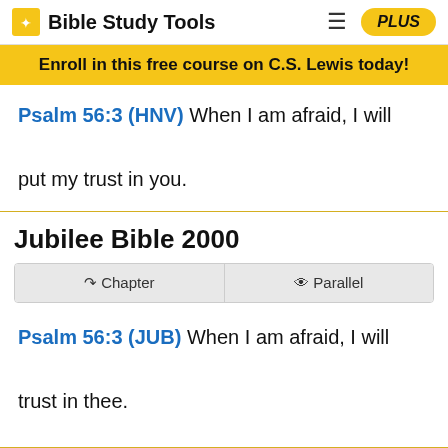Bible Study Tools | PLUS
Enroll in this free course on C.S. Lewis today!
Psalm 56:3 (HNV) When I am afraid, I will put my trust in you.
Jubilee Bible 2000
Chapter | Parallel
Psalm 56:3 (JUB) When I am afraid, I will trust in thee.